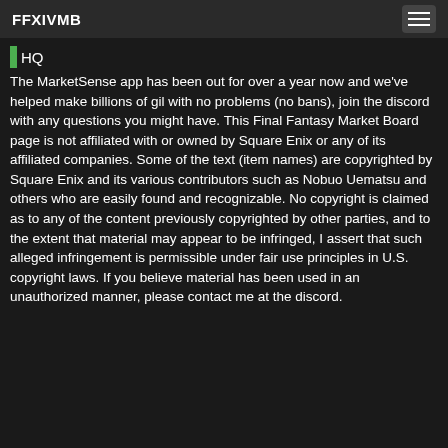FFXIVMB
HQ
The MarketSense app has been out for over a year now and we've helped make billions of gil with no problems (no bans), join the discord with any questions you might have. This Final Fantasy Market Board page is not affiliated with or owned by Square Enix or any of its affiliated companies. Some of the text (item names) are copyrighted by Square Enix and its various contributors such as Nobuo Uematsu and others who are easily found and recognizable. No copyright is claimed as to any of the content previously copyrighted by other parties, and to the extent that material may appear to be infringed, I assert that such alleged infringement is permissible under fair use principles in U.S. copyright laws. If you believe material has been used in an unauthorized manner, please contact me at the discord.